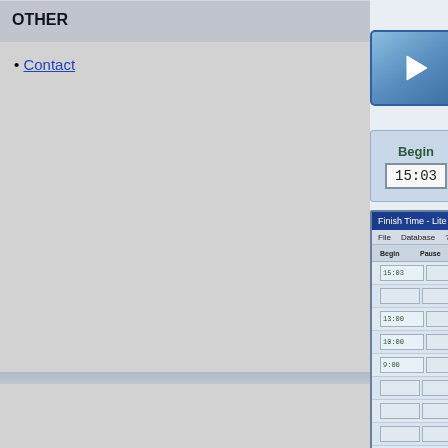OTHER
• Contact
[Figure (screenshot): Four media control buttons (play, pause, stop, rewind) styled in blue gradient, then a timer interface showing Begin: 15:03, Pause, End, Time: 00:04 columns, and below that a screenshot of FinishTime Lite application with a grid of time entries]
Easy and effective, immediately fonctionnal.
To note
- Possibility to see recent history.
- FinishTimeLite is a freeware : dont have to pa
- Just need to register (free, gratis).
- Can use on Windows 95, 98, Me, 2000, XP e
- Dont need more than one computer for use.
- Quick with many shorcuts (dont need mous